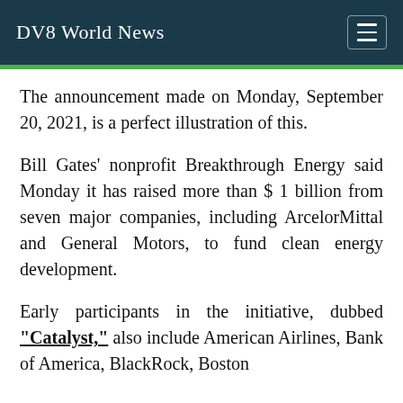DV8 World News
The announcement made on Monday, September 20, 2021, is a perfect illustration of this.
Bill Gates' nonprofit Breakthrough Energy said Monday it has raised more than $ 1 billion from seven major companies, including ArcelorMittal and General Motors, to fund clean energy development.
Early participants in the initiative, dubbed “Catalyst,” also include American Airlines, Bank of America, BlackRock, Boston